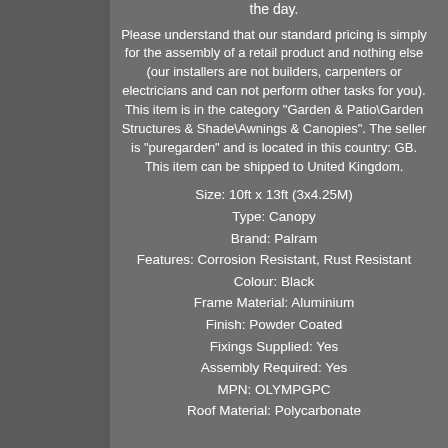the day.
Please understand that our standard pricing is simply for the assembly of a retail product and nothing else (our installers are not builders, carpenters or electricians and can not perform other tasks for you). This item is in the category "Garden & Patio\Garden Structures & Shade\Awnings & Canopies". The seller is "puregarden" and is located in this country: GB. This item can be shipped to United Kingdom.
Size: 10ft x 13ft (3x4.25M)
Type: Canopy
Brand: Palram
Features: Corrosion Resistant, Rust Resistant
Colour: Black
Frame Material: Aluminium
Finish: Powder Coated
Fixings Supplied: Yes
Assembly Required: Yes
MPN: OLYMPGPC
Roof Material: Polycarbonate